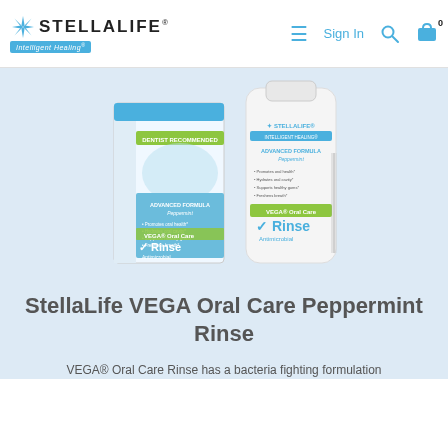STELLALIFE Intelligent Healing — Sign In
[Figure (photo): StellaLife VEGA Oral Care Peppermint Rinse product — a white bottle with blue and green label showing 'Rinse Antimicrobial' and its retail box packaging, both displaying STELLALIFE branding and product benefits]
StellaLife VEGA Oral Care Peppermint Rinse
VEGA® Oral Care Rinse has a bacteria fighting formulation